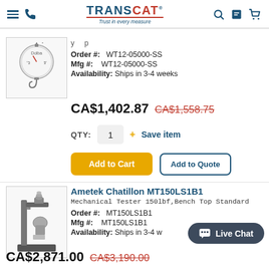TRANSCAT - Trust in every measure
Order #: WT12-05000-SS
Mfg #: WT12-05000-SS
Availability: Ships in 3-4 weeks
CA$1,402.87  CA$1,558.75
QTY: 1  + Save item
Add to Cart  Add to Quote
Ametek Chatillon MT150LS1B1
Mechanical Tester 150lbf,Bench Top Standard
Order #: MT150LS1B1
Mfg #: MT150LS1B1
Availability: Ships in 3-4 weeks
CA$2,871.00  CA$3,190.00